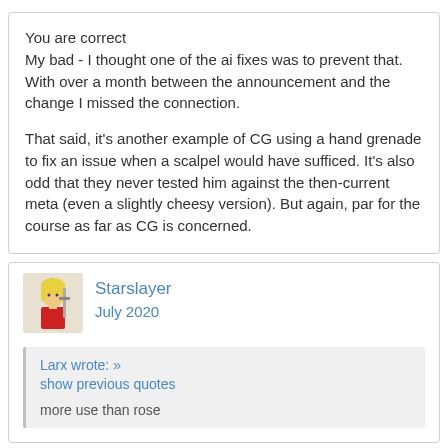You are correct
My bad - I thought one of the ai fixes was to prevent that. With over a month between the announcement and the change I missed the connection.

That said, it's another example of CG using a hand grenade to fix an issue when a scalpel would have sufficed. It's also odd that they never tested him against the then-current meta (even a slightly cheesy version). But again, par for the course as far as CG is concerned.
Starslayer
July 2020
Larx wrote: »
show previous quotes

more use than rose